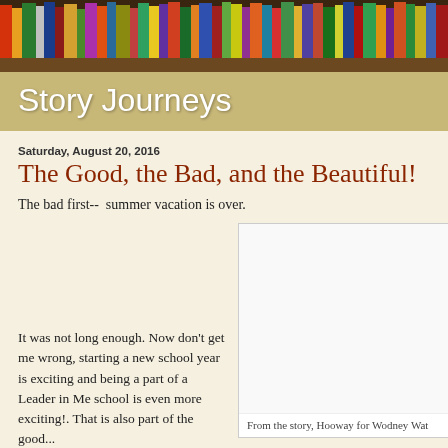[Figure (photo): Colorful bookshelf header image with books of various colors]
Story Journeys
Saturday, August 20, 2016
The Good, the Bad, and the Beautiful!
The bad first--  summer vacation is over.
[Figure (photo): Image from the story Hooway for Wodney Wat]
From the story, Hooway for Wodney Wat
It was not long enough. Now don't get me wrong, starting a new school year is exciting and being a part of a Leader in Me school is even more exciting!. That is also part of the good...